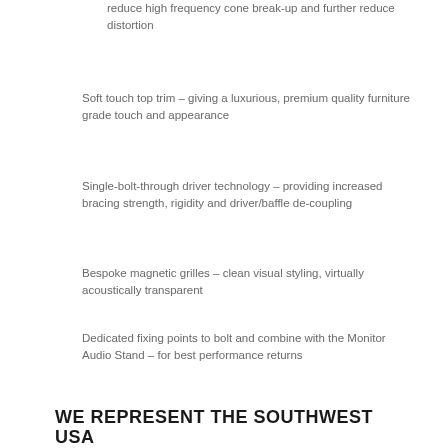reduce high frequency cone break-up and further reduce distortion
Soft touch top trim – giving a luxurious, premium quality furniture grade touch and appearance
Single-bolt-through driver technology – providing increased bracing strength, rigidity and driver/baffle de-coupling
Bespoke magnetic grilles – clean visual styling, virtually acoustically transparent
Dedicated fixing points to bolt and combine with the Monitor Audio Stand – for best performance returns
WE REPRESENT THE SOUTHWEST USA